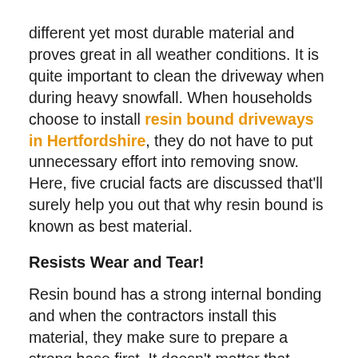different yet most durable material and proves great in all weather conditions. It is quite important to clean the driveway when during heavy snowfall. When households choose to install resin bound driveways in Hertfordshire, they do not have to put unnecessary effort into removing snow. Here, five crucial facts are discussed that'll surely help you out that why resin bound is known as best material.
Resists Wear and Tear!
Resin bound has a strong internal bonding and when the contractors install this material, they make sure to prepare a strong base first. It doesn't matter that whether you drive a car, bike, or a large van over it; the surface won't crack and stays sturdy. High-quality resin bound driveways in Hertfordshire is